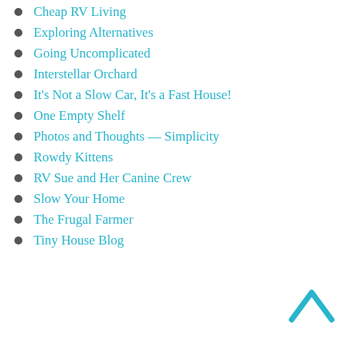Cheap RV Living
Exploring Alternatives
Going Uncomplicated
Interstellar Orchard
It's Not a Slow Car, It's a Fast House!
One Empty Shelf
Photos and Thoughts — Simplicity
Rowdy Kittens
RV Sue and Her Canine Crew
Slow Your Home
The Frugal Farmer
Tiny House Blog
[Figure (illustration): Upward-pointing chevron/arrow in teal/cyan color, used as a 'back to top' navigation element]